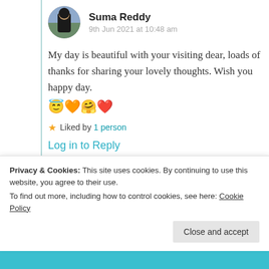[Figure (photo): Circular avatar photo of Suma Reddy, a woman with dark hair]
Suma Reddy
9th Jun 2021 at 10:48 am
My day is beautiful with your visiting dear, loads of thanks for sharing your lovely thoughts. Wish you happy day. 😇🧡🤗❤️
★ Liked by 1 person
Log in to Reply
Privacy & Cookies: This site uses cookies. By continuing to use this website, you agree to their use.
To find out more, including how to control cookies, see here: Cookie Policy
Close and accept